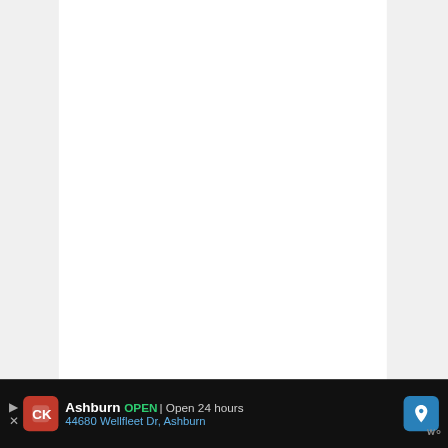LabCorp
COVID-19 IgG antibody testing, also known as serology testing, checks for a type of antibody called immunoglobulin G (IgG). You have the option to get the test through LabCorp.com. While the test itself has no upfront out-of-pocket costs, there
[Figure (infographic): What's Next panel showing The Ohio Eggfest... with a food image thumbnail]
Ashburn  OPEN | Open 24 hours  44680 Wellfleet Dr, Ashburn